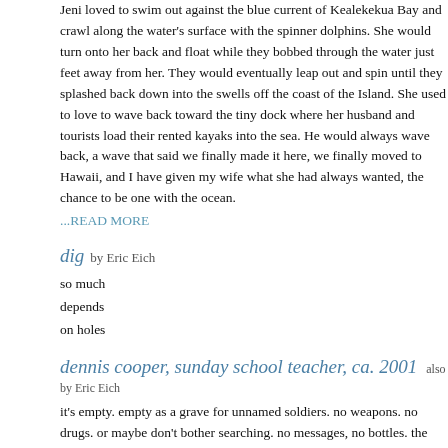Jeni loved to swim out against the blue current of Kealekekua Bay and crawl along the water's surface with the spinner dolphins. She would turn onto her back and float while they bobbed through the water just feet away from her. They would eventually leap out and spin until they splashed back down into the swells off the coast of the Island. She used to love to wave back toward the tiny dock where her husband and tourists load their rented kayaks into the sea. He would always wave back, a wave that said we finally made it here, we finally moved to Hawaii, and I have given my wife what she had always wanted, the chance to be one with the ocean.
...READ MORE
dig by Eric Eich
so much
depends
on holes
dennis cooper, sunday school teacher, ca. 2001 also by Eric Eich
it's empty. empty as a grave for unnamed soldiers. no weapons. no drugs. or maybe don't bother searching. no messages, no bottles. the last unbarbwired cemetery. et cetera
...READ MORE
AND PAST THE EARTH IS ANOTHER another by Connor Fisher